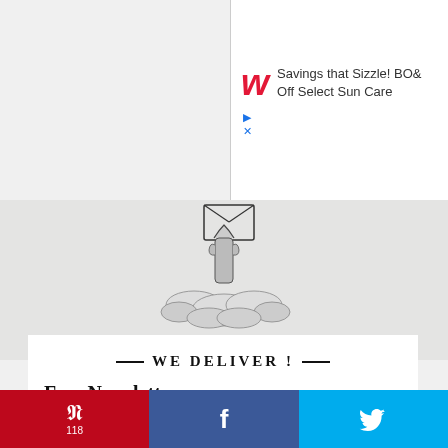[Figure (screenshot): Walgreens advertisement: red cursive W logo with text 'Savings that Sizzle! BOG Off Select Sun Care']
[Figure (illustration): Vintage engraving of a hand rising from clouds holding an envelope aloft, black and white illustration on textured grey background]
— WE DELIVER ! —
Free Newsletter
Enter your email and I'll send you my latest stories, and
[Figure (infographic): Social sharing bar with Pinterest (118), Facebook, and Twitter buttons]